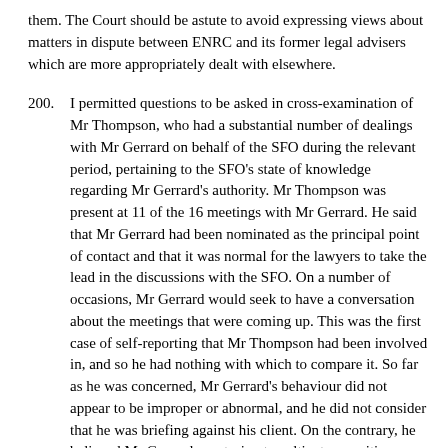them. The Court should be astute to avoid expressing views about matters in dispute between ENRC and its former legal advisers which are more appropriately dealt with elsewhere.
200. I permitted questions to be asked in cross-examination of Mr Thompson, who had a substantial number of dealings with Mr Gerrard on behalf of the SFO during the relevant period, pertaining to the SFO's state of knowledge regarding Mr Gerrard's authority. Mr Thompson was present at 11 of the 16 meetings with Mr Gerrard. He said that Mr Gerrard had been nominated as the principal point of contact and that it was normal for the lawyers to take the lead in the discussions with the SFO. On a number of occasions, Mr Gerrard would seek to have a conversation about the meetings that were coming up. This was the first case of self-reporting that Mr Thompson had been involved in, and so he had nothing with which to compare it. So far as he was concerned, Mr Gerrard's behaviour did not appear to be improper or abnormal, and he did not consider that he was briefing against his client. On the contrary, he believed Mr Gerrard was trying to cultivate a positive relationship with the SFO for the benefit of ENRC. He seemed to Mr Thompson to be doing his best to achieve a result that he thought to be in ENRC's best interests, namely, a civil settlement, which he was also trying to persuade the SFO